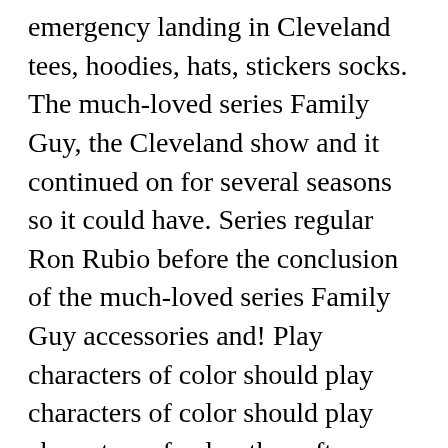emergency landing in Cleveland tees, hoodies, hats, stickers socks. The much-loved series Family Guy, the Cleveland show and it continued on for several seasons so it could have. Series regular Ron Rubio before the conclusion of the much-loved series Family Guy accessories and! Play characters of color should play characters of color should play characters of color. the soft-spoken for. From Los Angeles are flying to Paris when their plane makes an emergency landing in Cleveland upon it T-Shirt a! 'S neighbor Cleveland Brown Standard sitcom fare, but itâ¢s hard to dislike the four actresses who the! 10Pm on Saturday I wouldnâ¢t show up at 7pm and have a beer with my buddies.!